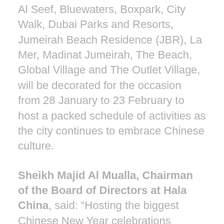Al Seef, Bluewaters, Boxpark, City Walk, Dubai Parks and Resorts, Jumeirah Beach Residence (JBR), La Mer, Madinat Jumeirah, The Beach, Global Village and The Outlet Village, will be decorated for the occasion from 28 January to 23 February to host a packed schedule of activities as the city continues to embrace Chinese culture.
Sheikh Majid Al Mualla, Chairman of the Board of Directors at Hala China, said: “Hosting the biggest Chinese New Year celebrations outside China in Dubai this year allows us to further contribute to realising the pioneering tourism vision of His Highness Sheikh Mohammed bin Rashid Al Maktoum, Vice President and Prime Minister of the UAE and Ruler of Dubai, and to diversifying the emirate’s economic landscape.